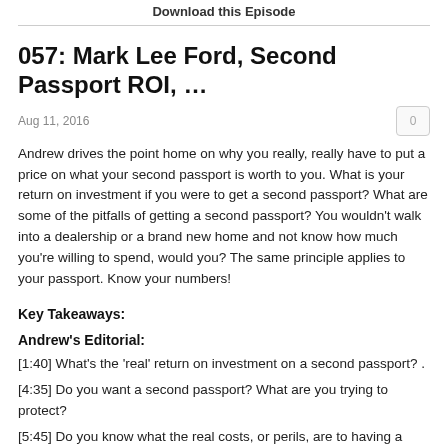Download this Episode
057: Mark Lee Ford, Second Passport ROI, …
Aug 11, 2016
Andrew drives the point home on why you really, really have to put a price on what your second passport is worth to you. What is your return on investment if you were to get a second passport? What are some of the pitfalls of getting a second passport? You wouldn't walk into a dealership or a brand new home and not know how much you're willing to spend, would you? The same principle applies to your passport. Know your numbers!
Key Takeaways:
Andrew's Editorial:
[1:40] What's the 'real' return on investment on a second passport? .
[4:35] Do you want a second passport? What are you trying to protect?
[5:45] Do you know what the real costs, or perils, are to having a second passport?
[6:05] On a positive note, what are some of the upsides to having a second